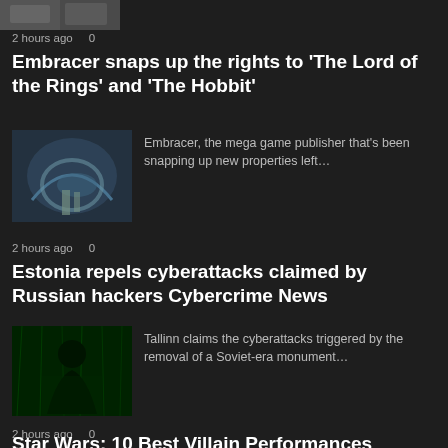[Figure (photo): Partial thumbnail image at top of page, cropped]
2 hours ago   0
Embracer snaps up the rights to 'The Lord of the Rings' and 'The Hobbit'
[Figure (photo): Fantasy landscape thumbnail showing an archway with boats, related to Lord of the Rings]
Embracer, the mega game publisher that's been snapping up new properties left…
2 hours ago   0
Estonia repels cyberattacks claimed by Russian hackers Cybercrime News
[Figure (photo): Dark silhouette of a hacker at a computer with green digital background]
Tallinn claims the cyberattacks triggered by the removal of a Soviet-era monument…
2 hours ago   0
Star Wars: 10 Best Villain Performances